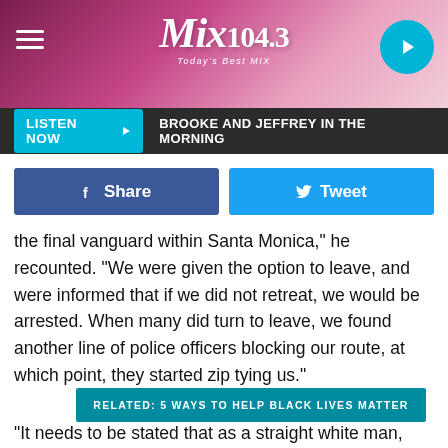Mix 104.3 — Today's Best Mix
[Figure (logo): Mix 104.3 radio station logo with hamburger menu and play button]
LISTEN NOW ▶  BROOKE AND JEFFREY IN THE MORNING
[Figure (infographic): Facebook Share button and Twitter Tweet button]
the final vanguard within Santa Monica," he recounted. "We were given the option to leave, and were informed that if we did not retreat, we would be arrested. When many did turn to leave, we found another line of police officers blocking our route, at which point, they started zip tying us."
RELATED: 5 WAYS TO HELP BLACK LIVES MATTER
"It needs to be stated that as a straight white man, and a public figure, the institutional consequences of my detainment are nothing in comparison to others within the movement." Sprouse continued. "This is ABSOLUTELY not a